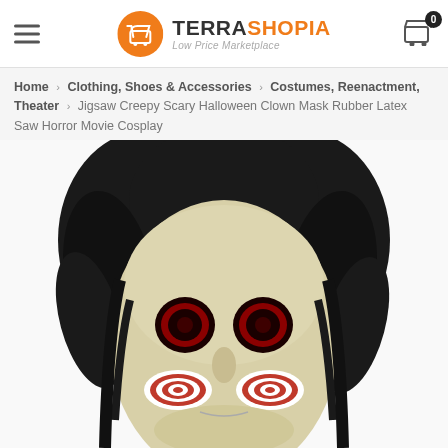TERRASHOPIA — Low Price Marketplace
Home > Clothing, Shoes & Accessories > Costumes, Reenactment, Theater > Jigsaw Creepy Scary Halloween Clown Mask Rubber Latex Saw Horror Movie Cosplay
[Figure (photo): Product photo of a Jigsaw Creepy Scary Halloween Clown Mask — a pale latex face mask with black hair, red spiral cheek markings, red-ringed black eye sockets, and a hinged mouth, on a white background.]